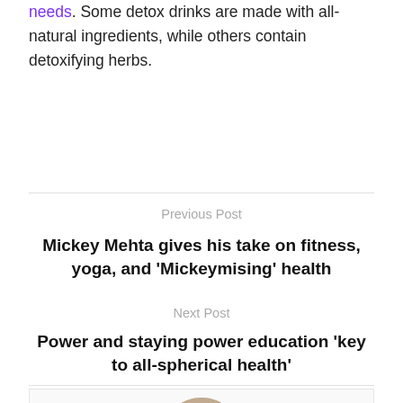needs. Some detox drinks are made with all-natural ingredients, while others contain detoxifying herbs.
Previous Post
Mickey Mehta gives his take on fitness, yoga, and 'Mickeymising' health
Next Post
Power and staying power education 'key to all-spherical health'
[Figure (photo): Circular portrait photo of a man with styled hair and ear gauges, shown in profile against a brick wall background]